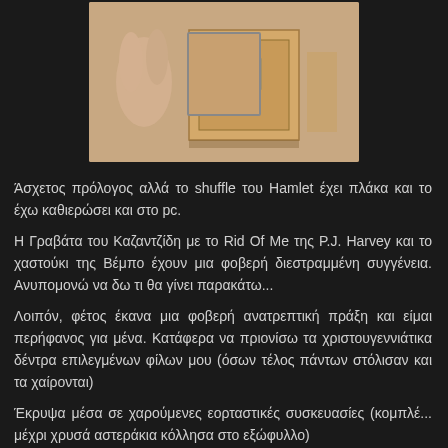[Figure (photo): A close-up photo of a small wooden safe or box with a keyhole, showing a hand or finger near it, on a light background.]
Άσχετος πρόλογος αλλά το shuffle του Hamlet έχει πλάκα και το έχω καθιερώσει και στο pc.
Η Γραβάτα του Καζαντζίδη με το Rid Of Me της P.J. Harvey και το χαστούκι της Βέμπο έχουν μια φοβερή διεστραμμένη συγγένεια. Ανυπομονώ να δω τι θα γίνει παρακάτω...
Λοιπόν, φέτος έκανα μια φοβερή ανατρεπτική πράξη και είμαι περήφανος για μένα. Κατάφερα να πριονίσω τα χριστουγεννιάτικα δέντρα επιλεγμένων φίλων μου (όσων τέλος πάντων στόλισαν και τα χαίρονται)
Έκρυψα μέσα σε χαρούμενες εορταστικές συσκευασίες (κομπλέ... μέχρι χρυσά αστεράκια κόλλησα στο εξώφυλλο)